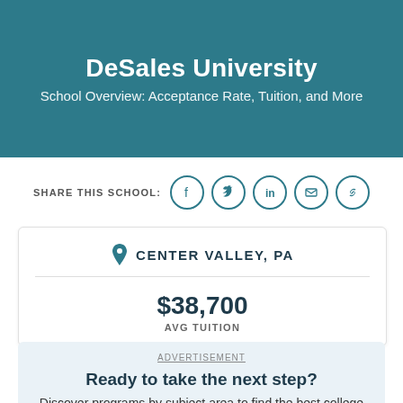DeSales University
School Overview: Acceptance Rate, Tuition, and More
SHARE THIS SCHOOL:
CENTER VALLEY, PA
$38,700
AVG TUITION
ADVERTISEMENT
Ready to take the next step?
Discover programs by subject area to find the best college for your future.